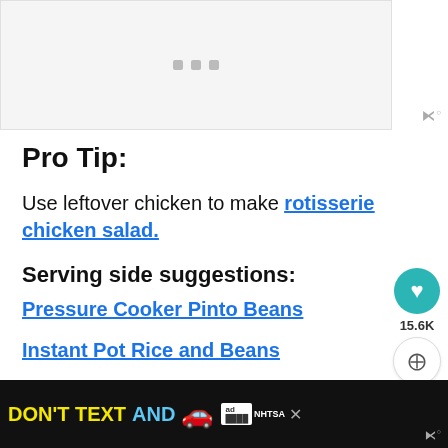[Figure (other): Top advertisement banner placeholder with three gray squares/dots]
Pro Tip:
Use leftover chicken to make rotisserie chicken salad.
Serving side suggestions:
Pressure Cooker Pinto Beans
Instant Pot Rice and Beans
[Figure (other): Bottom advertisement banner: DON'T TEXT AND [car emoji] with ad badge and NHTSA branding on dark background]